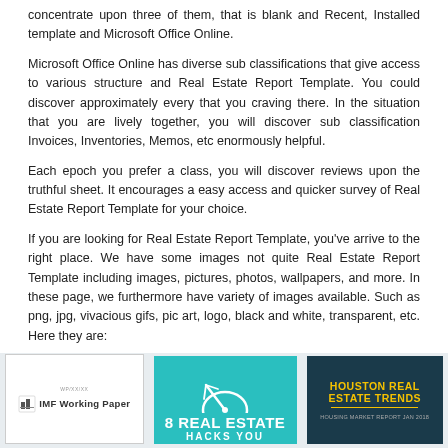concentrate upon three of them, that is blank and Recent, Installed template and Microsoft Office Online.
Microsoft Office Online has diverse sub classifications that give access to various structure and Real Estate Report Template. You could discover approximately every that you craving there. In the situation that you are lively together, you will discover sub classification Invoices, Inventories, Memos, etc enormously helpful.
Each epoch you prefer a class, you will discover reviews upon the truthful sheet. It encourages a easy access and quicker survey of Real Estate Report Template for your choice.
If you are looking for Real Estate Report Template, you've arrive to the right place. We have some images not quite Real Estate Report Template including images, pictures, photos, wallpapers, and more. In these page, we furthermore have variety of images available. Such as png, jpg, vivacious gifs, pic art, logo, black and white, transparent, etc. Here they are:
[Figure (photo): Three thumbnail images side by side: IMF Working Paper cover, a teal '8 Real Estate Hacks You' graphic, and a dark Houston Real Estate Trends report cover.]